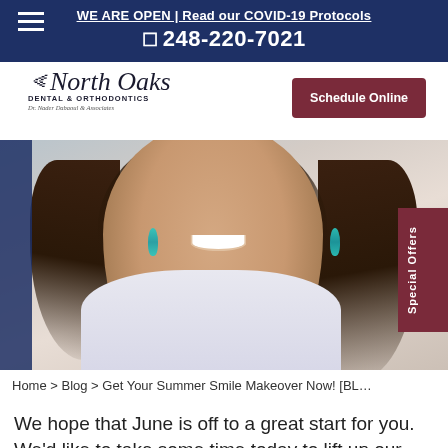WE ARE OPEN | Read our COVID-19 Protocols
248-220-7021
[Figure (logo): North Oaks Dental & Orthodontics logo with tooth icon and tagline]
Schedule Online
[Figure (photo): Smiling woman with dark hair and turquoise earrings, wearing a white top with blue floral scarf]
Special Offers
Home > Blog > Get Your Summer Smile Makeover Now! [BL…
We hope that June is off to a great start for you. We'd like to take some time today to lift up our cosmetic